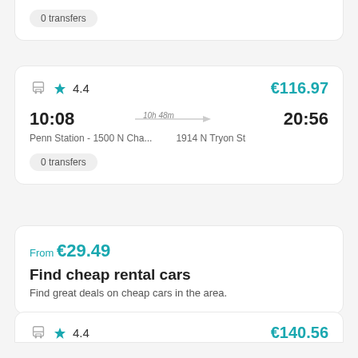0 transfers
4.4 rating, €116.97, 10:08 Penn Station - 1500 N Cha... to 20:56 1914 N Tryon St, 10h 48m, 0 transfers
From €29.49, Find cheap rental cars, Find great deals on cheap cars in the area.
4.4 rating, €140.56